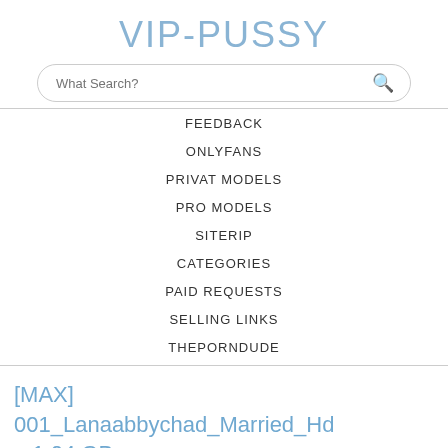VIP-PUSSY
[Figure (other): Search bar with placeholder text 'What Search?' and a search icon]
FEEDBACK
ONLYFANS
PRIVAT MODELS
PRO MODELS
SITERIP
CATEGORIES
PAID REQUESTS
SELLING LINKS
THEPORNDUDE
[MAX] 001_Lanaabbychad_Married_Hd – 1.04 GB